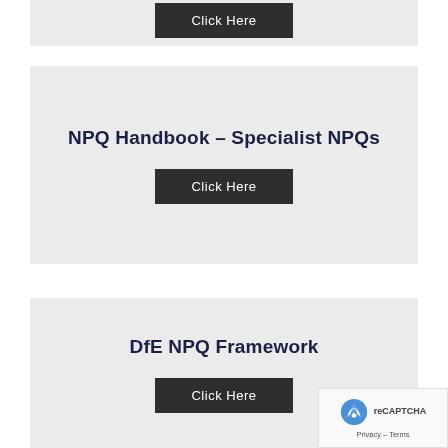[Figure (screenshot): Partial card from above page fold with dark 'Click Here' button visible at top]
NPQ Handbook – Specialist NPQs
[Figure (screenshot): Dark button labeled 'Click Here' for NPQ Handbook]
DfE NPQ Framework
[Figure (screenshot): Dark button labeled 'Click Here' for DfE NPQ Framework]
[Figure (other): Google reCAPTCHA badge with Privacy and Terms links]